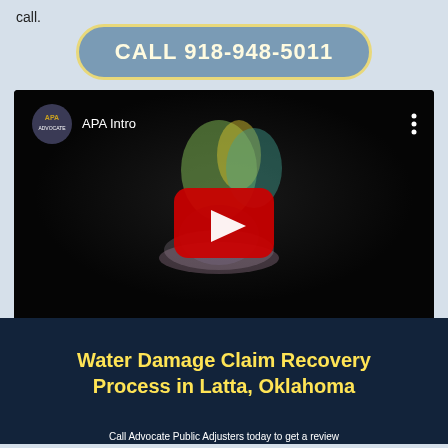call.
CALL 918-948-5011
[Figure (screenshot): YouTube video embed showing 'APA Intro' video with Advocate logo, YouTube play button in center, colorful smoke figure in background on dark background]
Water Damage Claim Recovery Process in Latta, Oklahoma
Call Advocate Public Adjusters today to get a review